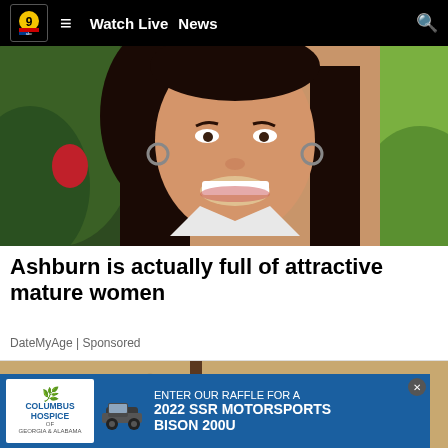Watch Live  News
[Figure (photo): Smiling young woman with long dark hair and hoop earrings, photographed outdoors with green foliage in the background]
Ashburn is actually full of attractive mature women
DateMyAge | Sponsored
[Figure (photo): Outdoor wall-mounted lantern light fixture on a stucco wall]
[Figure (infographic): Columbus Hospice of Georgia & Alabama advertisement: ENTER OUR RAFFLE FOR A 2022 SSR MOTORSPORTS BISON 200U]